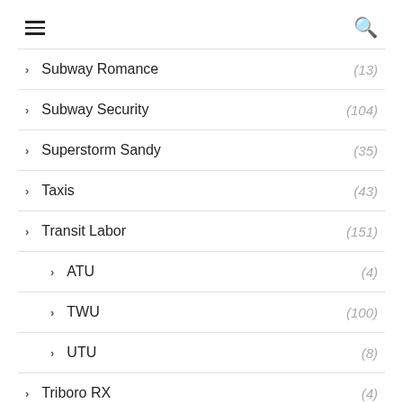≡  🔍
Subway Romance (13)
Subway Security (104)
Superstorm Sandy (35)
Taxis (43)
Transit Labor (151)
ATU (4)
TWU (100)
UTU (8)
Triboro RX (4)